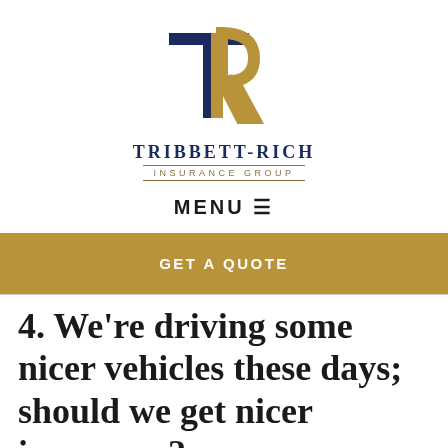[Figure (logo): Tribbett-Rich Insurance Group logo — overlapping T and R letterforms in navy blue and gold, with company name below]
TRIBBETT-RICH
INSURANCE GROUP
MENU ☰
GET A QUOTE
4. We're driving some nicer vehicles these days; should we get nicer insurance?